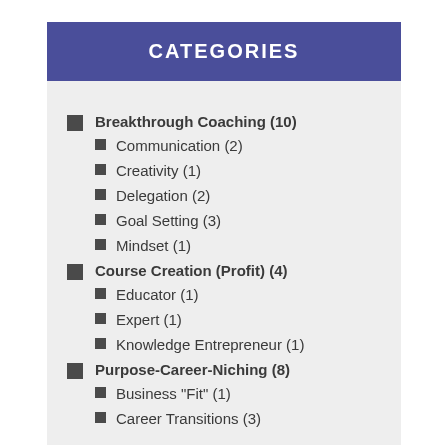CATEGORIES
Breakthrough Coaching (10)
Communication (2)
Creativity (1)
Delegation (2)
Goal Setting (3)
Mindset (1)
Course Creation (Profit) (4)
Educator (1)
Expert (1)
Knowledge Entrepreneur (1)
Purpose-Career-Niching (8)
Business "Fit" (1)
Career Transitions (3)